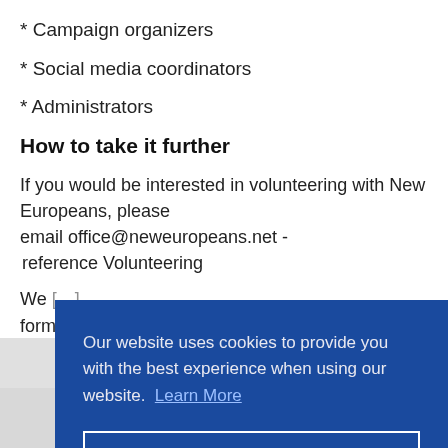* Campaign organizers
* Social media coordinators
* Administrators
How to take it further
If you would be interested in volunteering with New Europeans, please email office@neweuropeans.net -  reference Volunteering
We [partially obscured] form[partially obscured]
Our website uses cookies to provide you with the best experience when using our website.  Learn More
Dismiss